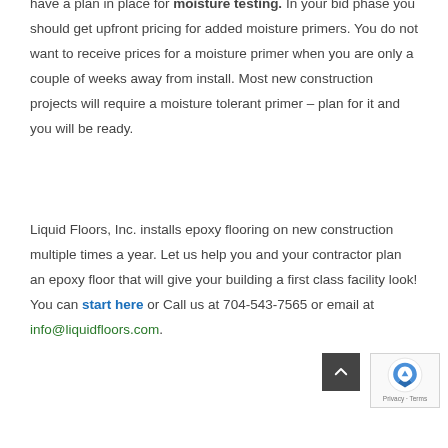have a plan in place for moisture testing. In your bid phase you should get upfront pricing for added moisture primers. You do not want to receive prices for a moisture primer when you are only a couple of weeks away from install. Most new construction projects will require a moisture tolerant primer – plan for it and you will be ready.
Liquid Floors, Inc. installs epoxy flooring on new construction multiple times a year. Let us help you and your contractor plan an epoxy floor that will give your building a first class facility look! You can start here or Call us at 704-543-7565 or email at info@liquidfloors.com.